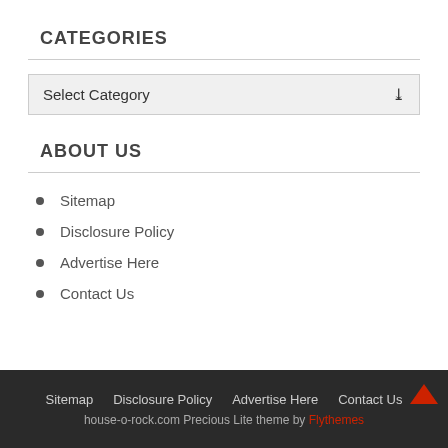CATEGORIES
[Figure (other): Select Category dropdown widget]
ABOUT US
Sitemap
Disclosure Policy
Advertise Here
Contact Us
Sitemap   Disclosure Policy   Advertise Here   Contact Us
house-o-rock.com Precious Lite theme by Flythemes